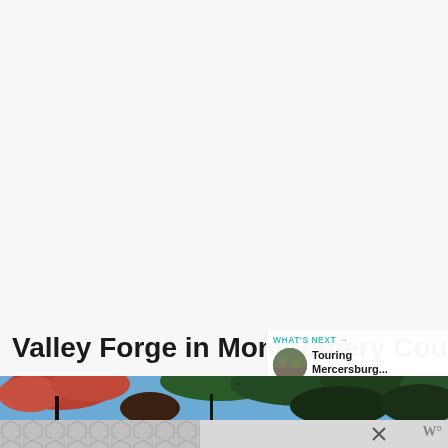[Figure (screenshot): White/light gray background area occupying the top portion of the page — appears to be a blank content area of a website]
[Figure (infographic): Teal circular heart/like button with count 25.6K and a share button below it]
Valley Forge in Montgomery County
WHAT'S NEXT → Touring Mercersburg...
[Figure (photo): Outdoor photo strip showing trees with autumn/green foliage against a blue sky]
[Figure (infographic): Bottom advertisement banner with geometric hexagon pattern in gray, a close (X) button, and a W logo]